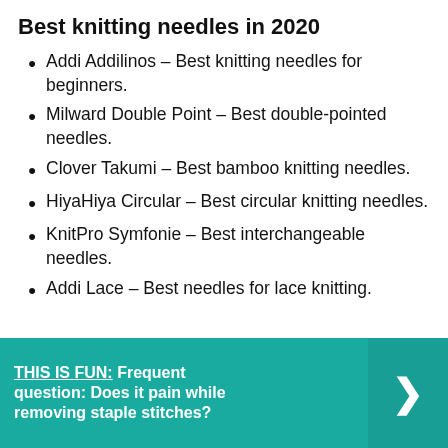Best knitting needles in 2020
Addi Addilinos – Best knitting needles for beginners.
Milward Double Point – Best double-pointed needles.
Clover Takumi – Best bamboo knitting needles.
HiyaHiya Circular – Best circular knitting needles.
KnitPro Symfonie – Best interchangeable needles.
Addi Lace – Best needles for lace knitting.
THIS IS FUN: Frequent question: Does it pain while removing staple stitches?